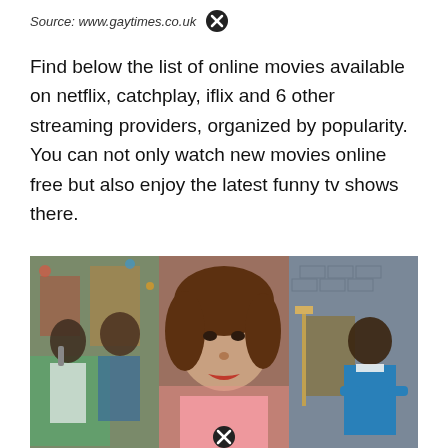Source: www.gaytimes.co.uk
Find below the list of online movies available on netflix, catchplay, iflix and 6 other streaming providers, organized by popularity. You can not only watch new movies online free but also enjoy the latest funny tv shows there.
[Figure (photo): Three-panel image collage showing TV show scenes: left panel shows two young girls, one singing into a microphone at a party; middle panel shows a woman with short brown hair in close-up with red lipstick; right panel shows a man in a blue sweater standing with arms crossed in an indoor setting.]